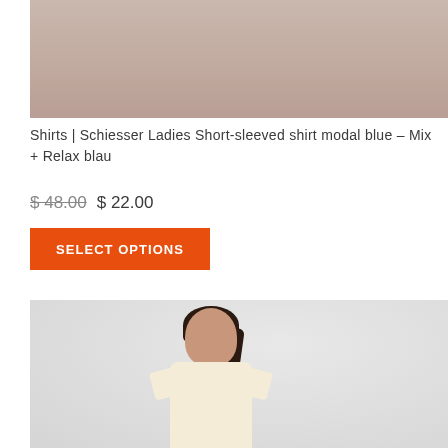[Figure (photo): Cropped photo showing lower body/legs of a model wearing dark shorts against a light background]
Shirts | Schiesser Ladies Short-sleeved shirt modal blue – Mix + Relax blau
$ 48.00 $ 22.00
SELECT OPTIONS
[Figure (photo): Photo of a smiling brunette woman wearing a cream/off-white short-sleeved t-shirt against a light gray background]